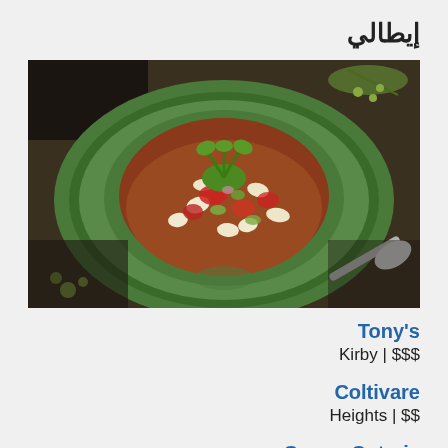إيطالي
[Figure (photo): A green ceramic plate with a leaf-pattern border holding a bowl of bean and tomato soup garnished with a green herb, surrounded by olives and herbs on a dark cloth.]
Tony's
$$$ | Kirby
Coltivare
$$ | Heights
Coppa Osteria